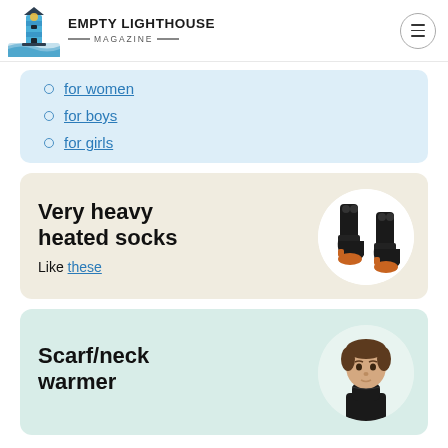EMPTY LIGHTHOUSE MAGAZINE
for women
for boys
for girls
Very heavy heated socks
Like these
[Figure (photo): Black heated socks with orange accents, shown in a white circle]
Scarf/neck warmer
[Figure (photo): Man wearing a black neck warmer/scarf, shown in a circular crop]